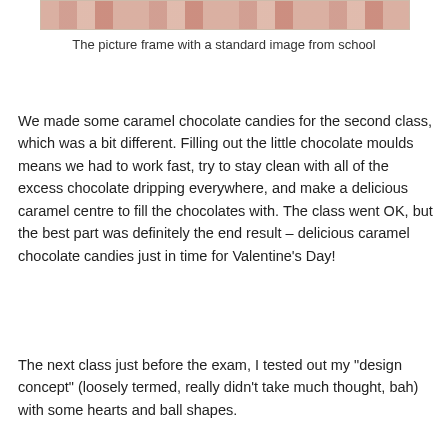[Figure (photo): Top portion of a picture frame with a standard image from school, showing a decorative strip with warm pinkish-brown tones.]
The picture frame with a standard image from school
We made some caramel chocolate candies for the second class, which was a bit different. Filling out the little chocolate moulds means we had to work fast, try to stay clean with all of the excess chocolate dripping everywhere, and make a delicious caramel centre to fill the chocolates with. The class went OK, but the best part was definitely the end result – delicious caramel chocolate candies just in time for Valentine's Day!
The next class just before the exam, I tested out my “design concept” (loosely termed, really didn’t take much thought, bah) with some hearts and ball shapes.